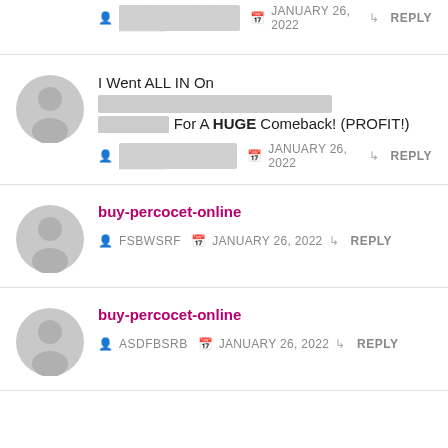JANUARY 26, 2022 REPLY (top comment meta)
I Went ALL IN On [redacted] For A HUGE Comeback! (PROFIT!)
JANUARY 26, 2022 REPLY
buy-percocet-online
FSBWSRF  JANUARY 26, 2022  REPLY
buy-percocet-online
ASDFBSRB  JANUARY 26, 2022  REPLY